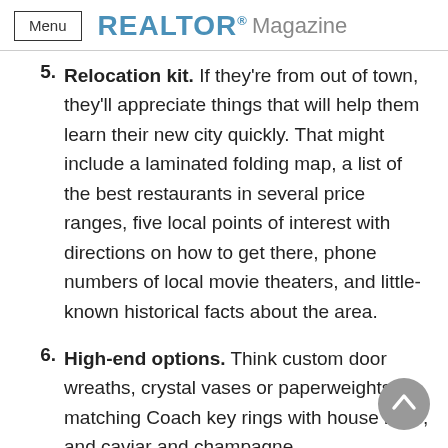Menu  REALTOR® Magazine
5. Relocation kit. If they're from out of town, they'll appreciate things that will help them learn their new city quickly. That might include a laminated folding map, a list of the best restaurants in several price ranges, five local points of interest with directions on how to get there, phone numbers of local movie theaters, and little-known historical facts about the area.
6. High-end options. Think custom door wreaths, crystal vases or paperweights, matching Coach key rings with house keys, and caviar and champagne.